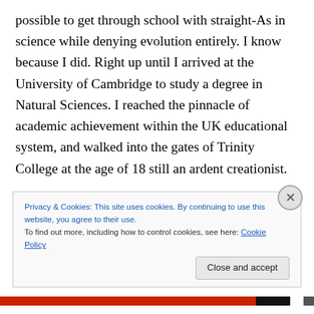possible to get through school with straight-As in science while denying evolution entirely. I know because I did. Right up until I arrived at the University of Cambridge to study a degree in Natural Sciences. I reached the pinnacle of academic achievement within the UK educational system, and walked into the gates of Trinity College at the age of 18 still an ardent creationist.

My Damascene conversion came quickly, but it was not caused by losing an argument with a more experienced opponent, hearing a case against creationism, or even for
Privacy & Cookies: This site uses cookies. By continuing to use this website, you agree to their use.
To find out more, including how to control cookies, see here: Cookie Policy